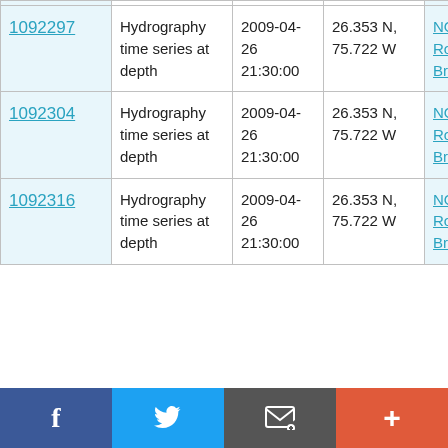| 1092297 | Hydrography time series at depth | 2009-04-26 21:30:00 | 26.353 N, 75.722 W | NOAA Ship Ronald H. Brown RB0901 |
| 1092304 | Hydrography time series at depth | 2009-04-26 21:30:00 | 26.353 N, 75.722 W | NOAA Ship Ronald H. Brown RB0901 |
| 1092316 | Hydrography time series at depth | 2009-04-26 21:30:00 | 26.353 N, 75.722 W | NOAA Ship Ronald H. Brown |
Social share bar: Facebook, Twitter, Email, More